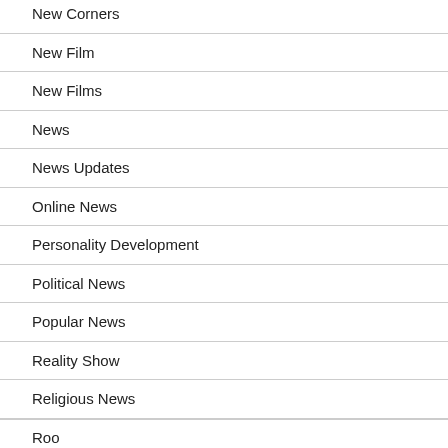New Corners
New Film
New Films
News
News Updates
Online News
Personality Development
Political News
Popular News
Reality Show
Religious News
Roo...